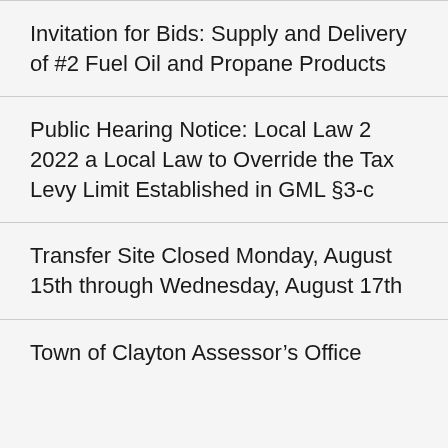Invitation for Bids: Supply and Delivery of #2 Fuel Oil and Propane Products
Public Hearing Notice: Local Law 2 2022 a Local Law to Override the Tax Levy Limit Established in GML §3-c
Transfer Site Closed Monday, August 15th through Wednesday, August 17th
Town of Clayton Assessor's Office